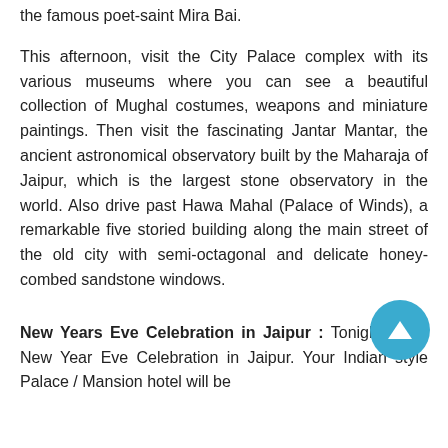the famous poet-saint Mira Bai.
This afternoon, visit the City Palace complex with its various museums where you can see a beautiful collection of Mughal costumes, weapons and miniature paintings. Then visit the fascinating Jantar Mantar, the ancient astronomical observatory built by the Maharaja of Jaipur, which is the largest stone observatory in the world. Also drive past Hawa Mahal (Palace of Winds), a remarkable five storied building along the main street of the old city with semi-octagonal and delicate honey-combed sandstone windows.
[Figure (other): A teal/blue circular scroll-to-top button with an upward-pointing triangle arrow]
New Years Eve Celebration in Jaipur : Tonight enjoy New Year Eve Celebration in Jaipur. Your Indian style Palace / Mansion hotel will be